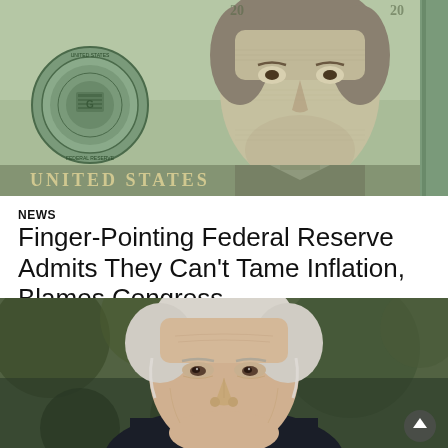[Figure (photo): Close-up of a $20 US dollar bill showing Andrew Jackson's portrait and Federal Reserve seal]
NEWS
Finger-Pointing Federal Reserve Admits They Can't Tame Inflation, Blames Congress
[Figure (photo): Close-up portrait photo of an elderly white-haired man outdoors with blurred green background]